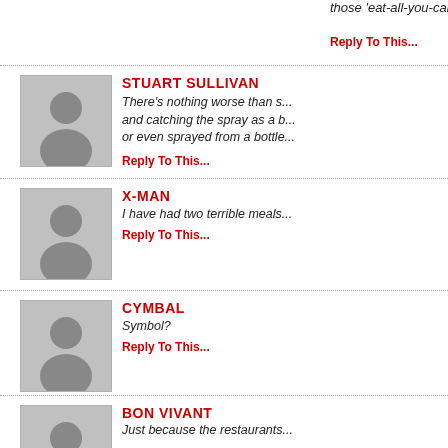those 'eat-all-you-can' "resta...
Reply To This...
STUART SULLIVAN
There's nothing worse than s... and catching the spray as a b... or even sprayed from a bottle...
Reply To This...
X-MAN
I have had two terrible meals...
Reply To This...
CYMBAL
Symbol?
Reply To This...
BON VIVANT
Just because the restaurants... it doesn't mean that we also ...
Reply To This...